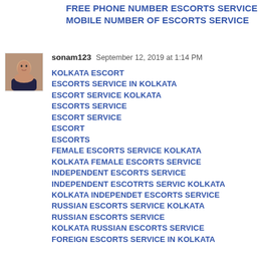FREE PHONE NUMBER ESCORTS SERVICE MOBILE NUMBER OF ESCORTS SERVICE
sonam123  September 12, 2019 at 1:14 PM
KOLKATA ESCORT
ESCORTS SERVICE IN KOLKATA
ESCORT SERVICE KOLKATA
ESCORTS SERVICE
ESCORT SERVICE
ESCORT
ESCORTS
FEMALE ESCORTS SERVICE KOLKATA
KOLKATA FEMALE ESCORTS SERVICE
INDEPENDENT ESCORTS SERVICE
INDEPENDENT ESCOTRTS SERVIC KOLKATA
KOLKATA INDEPENDET ESCORTS SERVICE
RUSSIAN ESCORTS SERVICE KOLKATA
RUSSIAN ESCORTS SERVICE
KOLKATA RUSSIAN ESCORTS SERVICE
FOREIGN ESCORTS SERVICE IN KOLKATA